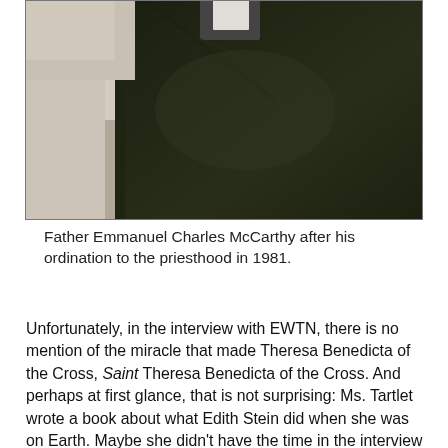[Figure (photo): Close-up photograph of Father Emmanuel Charles McCarthy in dark clerical clothing with a white collar tab visible, taken after his ordination in 1981. The image is dark, showing mainly the dark fabric of his vestments.]
Father Emmanuel Charles McCarthy after his ordination to the priesthood in 1981.
Unfortunately, in the interview with EWTN, there is no mention of the miracle that made Theresa Benedicta of the Cross, Saint Theresa Benedicta of the Cross. And perhaps at first glance, that is not surprising: Ms. Tartlet wrote a book about what Edith Stein did when she was on Earth. Maybe she didn't have the time in the interview to discuss what she did from heaven. Maybe she didn't know.